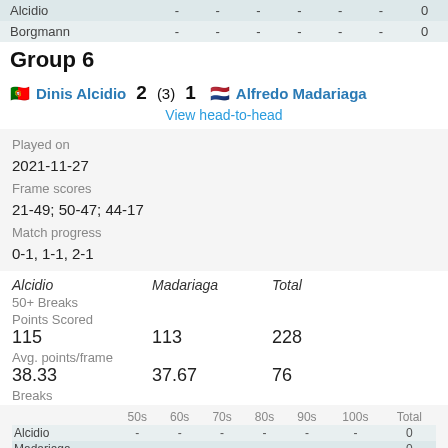|  | 50s | 60s | 70s | 80s | 90s | 100s | Total |
| --- | --- | --- | --- | --- | --- | --- | --- |
| Alcidio | - | - | - | - | - | - | 0 |
| Borgmann | - | - | - | - | - | - | 0 |
Group 6
Dinis Alcidio  2  (3)  1  Alfredo Madariaga
View head-to-head
Played on
2021-11-27
Frame scores
21-49; 50-47; 44-17
Match progress
0-1, 1-1, 2-1
| Alcidio | Madariaga | Total |
| --- | --- | --- |
| 50+ Breaks |  |  |
| Points Scored |  |  |
| 115 | 113 | 228 |
| Avg. points/frame |  |  |
| 38.33 | 37.67 | 76 |
| Breaks |  |  |
|  | 50s | 60s | 70s | 80s | 90s | 100s | Total |
| --- | --- | --- | --- | --- | --- | --- | --- |
| Alcidio | - | - | - | - | - | - | 0 |
| Madariaga | - | - | - | - | - | - | 0 |